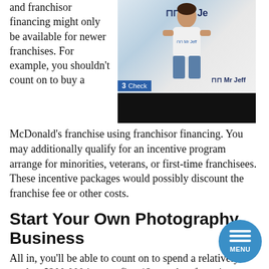and franchisor financing might only be available for newer franchises. For example, you shouldn’t count on to buy a McDonald’s franchise using franchisor financing. You may additionally qualify for an incentive program arrange for minorities, veterans, or first-time franchisees. These incentive packages would possibly discount the franchise fee or other costs.
[Figure (photo): Photo of a woman in a Mr Jeff branded shirt standing in front of a Mr Jeff office/store backdrop, with a blue bar at bottom labeled '3 Check']
Start Your Own Photography Business
All in, you’ll be able to count on to spend a relatively modest $200,000 in your first 12 months of owning a